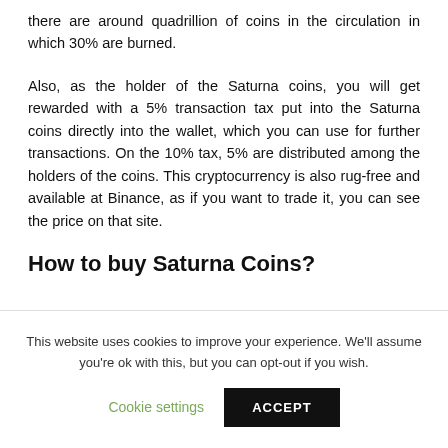there are around quadrillion of coins in the circulation in which 30% are burned.
Also, as the holder of the Saturna coins, you will get rewarded with a 5% transaction tax put into the Saturna coins directly into the wallet, which you can use for further transactions. On the 10% tax, 5% are distributed among the holders of the coins. This cryptocurrency is also rug-free and available at Binance, as if you want to trade it, you can see the price on that site.
How to buy Saturna Coins?
This website uses cookies to improve your experience. We'll assume you're ok with this, but you can opt-out if you wish.